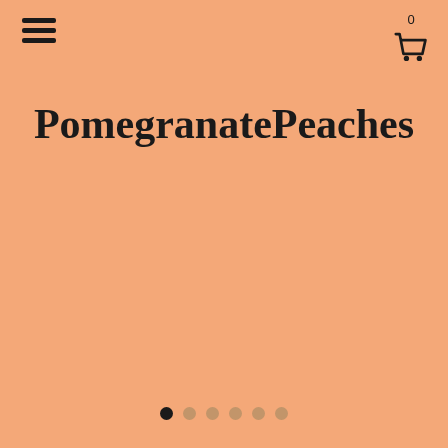[Figure (screenshot): Hamburger menu icon in top-left corner, three horizontal black bars]
[Figure (screenshot): Shopping cart icon in top-right corner with badge showing 0]
PomegranatePeaches
[Figure (infographic): Carousel navigation dots — 6 dots, first one filled black, remaining 5 in tan/beige color]